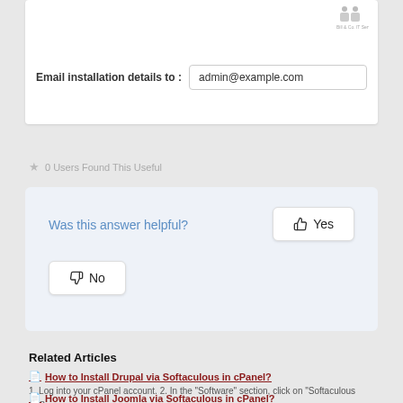[Figure (screenshot): Email installation details input field showing admin@example.com with a logo in top right corner]
0 Users Found This Useful
[Figure (screenshot): Was this answer helpful? with Yes and No buttons]
Related Articles
How to Install Drupal via Softaculous in cPanel?
1. Log into your cPanel account. 2. In the "Software" section, click on "Softaculous App...
How to Install Joomla via Softaculous in cPanel?